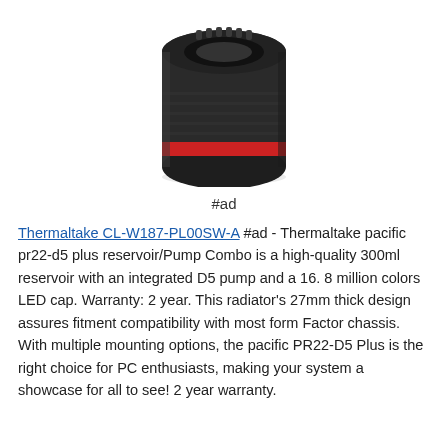[Figure (photo): Product photo of a Thermaltake Pacific PR22-D5 Plus reservoir/pump combo, showing a cylindrical black device with a red ring accent, viewed from above at an angle.]
#ad
Thermaltake CL-W187-PL00SW-A #ad - Thermaltake pacific pr22-d5 plus reservoir/Pump Combo is a high-quality 300ml reservoir with an integrated D5 pump and a 16. 8 million colors LED cap. Warranty: 2 year. This radiator's 27mm thick design assures fitment compatibility with most form Factor chassis. With multiple mounting options, the pacific PR22-D5 Plus is the right choice for PC enthusiasts, making your system a showcase for all to see! 2 year warranty.